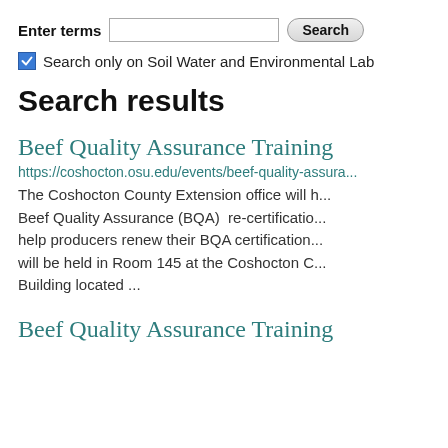Enter terms [search input] Search
Search only on Soil Water and Environmental Lab
Search results
Beef Quality Assurance Training
https://coshocton.osu.edu/events/beef-quality-assura...
The Coshocton County Extension office will h... Beef Quality Assurance (BQA)  re-certificatio... help producers renew their BQA certification... will be held in Room 145 at the Coshocton C... Building located ...
Beef Quality Assurance Training